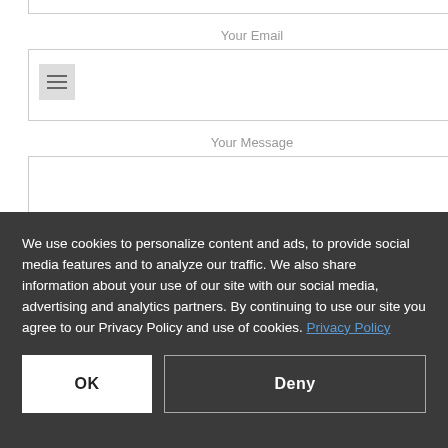Your Email
[Figure (screenshot): Email input field with hamburger menu icon on left side]
Your Message
[Figure (screenshot): Message text area input field]
We use cookies to personalize content and ads, to provide social media features and to analyze our traffic. We also share information about your use of our site with our social media, advertising and analytics partners. By continuing to use our site you agree to our Privacy Policy and use of cookies. Privacy Policy
OK
Deny